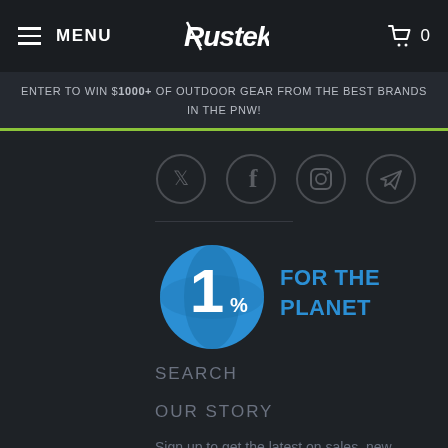MENU | Rustek | 0
ENTER TO WIN $1000+ OF OUTDOOR GEAR FROM THE BEST BRANDS IN THE PNW!
[Figure (screenshot): Social media icons row: Twitter, Facebook, Instagram, Telegram]
[Figure (logo): 1% for the Planet logo - blue globe with '1%' text and 'FOR THE PLANET' text]
SEARCH
OUR STORY
Sign up to get the latest on sales, new releases